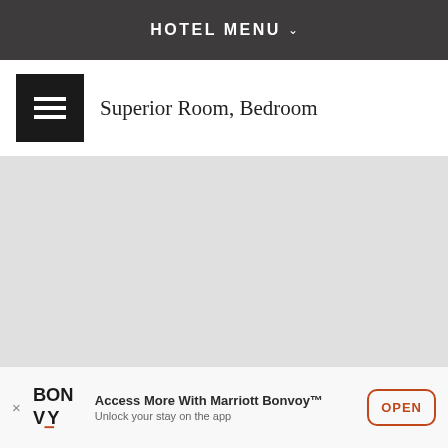HOTEL MENU
Superior Room, Bedroom
[Figure (photo): Large light gray placeholder image area for hotel room bedroom photo]
Access More With Marriott Bonvoy™ Unlock your stay on the app
OPEN